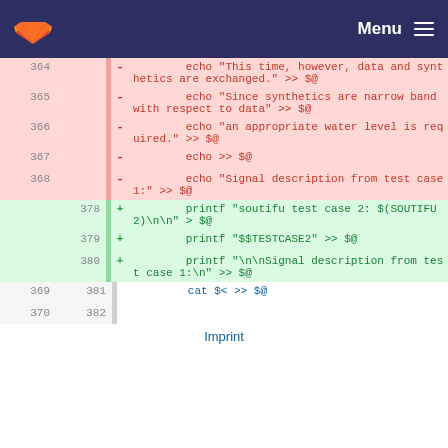GitLab logo | Menu
364 - echo "This time, however, data and synthetics are exchanged." >> $@
365 - echo "Since synthetics are narrow band with respect to data" >> $@
366 - echo "an appropriate water level is required." >> $@
367 - echo >> $@
368 - echo "Signal description from test case 1:" >> $@
378 + printf "soutifu test case 2: $(SOUTIFU2)\n\n" > $@
379 + printf "$$TESTCASE2" >> $@
380 + printf "\n\nSignal description from test case 1:\n" >> $@
369 381 cat $< >> $@
370 382
Imprint